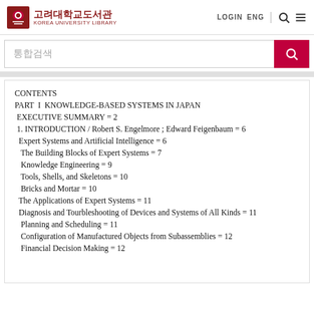고려대학교도서관 KOREA UNIVERSITY LIBRARY | LOGIN ENG
통합검색
CONTENTS
PART I KNOWLEDGE-BASED SYSTEMS IN JAPAN
 EXECUTIVE SUMMARY = 2
 1. INTRODUCTION / Robert S. Engelmore ; Edward Feigenbaum = 6
  Expert Systems and Artificial Intelligence = 6
   The Building Blocks of Expert Systems = 7
   Knowledge Engineering = 9
   Tools, Shells, and Skeletons = 10
   Bricks and Mortar = 10
  The Applications of Expert Systems = 11
  Diagnosis and Tourbleshooting of Devices and Systems of All Kinds = 11
   Planning and Scheduling = 11
   Configuration of Manufactured Objects from Subassemblies = 12
   Financial Decision Making = 12